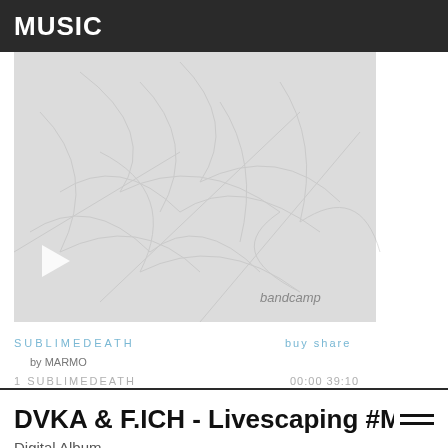MUSIC
[Figure (screenshot): Bandcamp music player showing album art with abstract faded imagery, play button, and bandcamp watermark. Track: SUBLIMEDEATH by MARMO. Shows buy and share options.]
DVKA & F.ICH - Livescaping #Moon
Digital Album